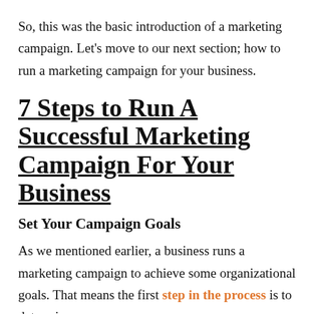So, this was the basic introduction of a marketing campaign. Let's move to our next section; how to run a marketing campaign for your business.
7 Steps to Run A Successful Marketing Campaign For Your Business
Set Your Campaign Goals
As we mentioned earlier, a business runs a marketing campaign to achieve some organizational goals. That means the first step in the process is to determine what you want to accomplish with your campaign.